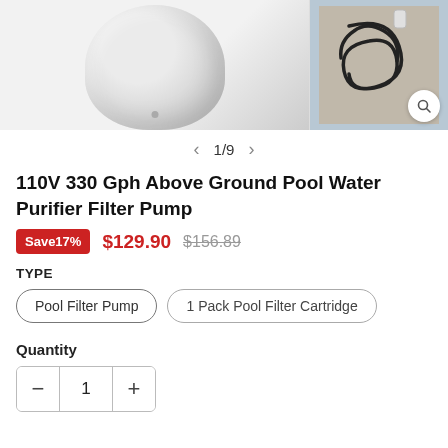[Figure (photo): Product photo of a white pool filter pump (left) and a coiled black hose on concrete (right) with a magnify icon]
1/9
110V 330 Gph Above Ground Pool Water Purifier Filter Pump
Save17%  $129.90  $156.89
TYPE
Pool Filter Pump
1 Pack Pool Filter Cartridge
Quantity
1